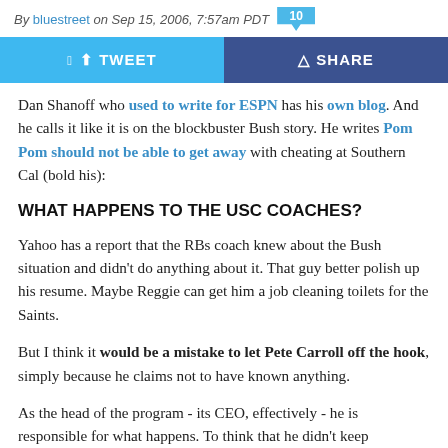By bluestreet on Sep 15, 2006, 7:57am PDT  10
[Figure (other): Tweet and Share buttons bar]
Dan Shanoff who used to write for ESPN has his own blog. And he calls it like it is on the blockbuster Bush story. He writes Pom Pom should not be able to get away with cheating at Southern Cal (bold his):
WHAT HAPPENS TO THE USC COACHES?
Yahoo has a report that the RBs coach knew about the Bush situation and didn't do anything about it. That guy better polish up his resume. Maybe Reggie can get him a job cleaning toilets for the Saints.
But I think it would be a mistake to let Pete Carroll off the hook, simply because he claims not to have known anything.
As the head of the program - its CEO, effectively - he is responsible for what happens. To think that he didn't keep